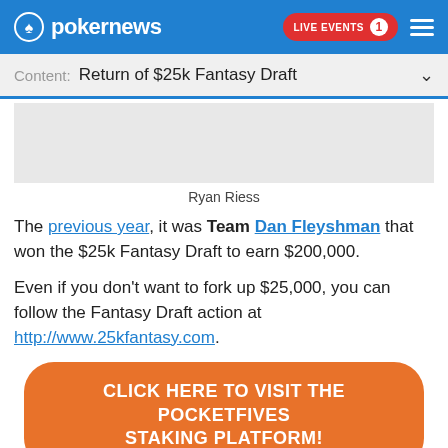pokernews — LIVE EVENTS 1
Content: Return of $25k Fantasy Draft
[Figure (photo): Placeholder image area showing Ryan Riess]
Ryan Riess
The previous year, it was Team Dan Fleyshman that won the $25k Fantasy Draft to earn $200,000.
Even if you don't want to fork up $25,000, you can follow the Fantasy Draft action at http://www.25kfantasy.com.
CLICK HERE TO VISIT THE POCKETFIVES STAKING PLATFORM!
SHARE...